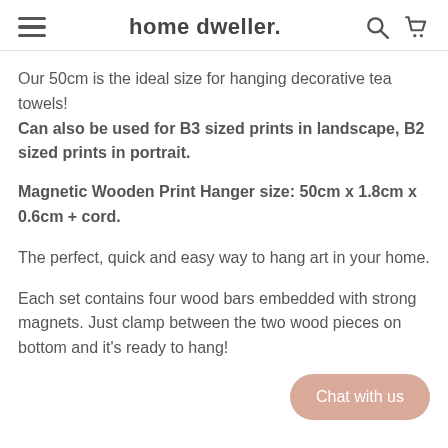home dweller.
Our 50cm is the ideal size for hanging decorative tea towels! Can also be used for B3 sized prints in landscape, B2 sized prints in portrait.
Magnetic Wooden Print Hanger size: 50cm x 1.8cm x 0.6cm + cord.
The perfect, quick and easy way to hang art in your home.
Each set contains four wood bars embedded with strong magnets. Just clamp between the two wood pieces on bottom and it's ready to hang!